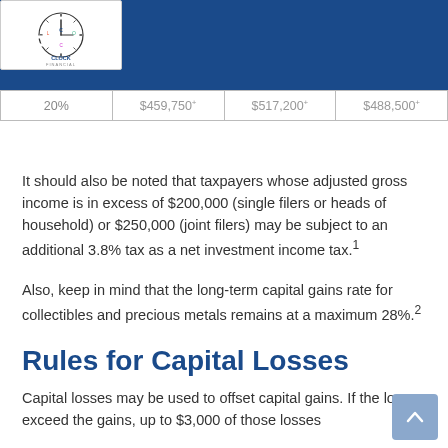Clock Finance – site header with logo
|  |  |  |  |
| --- | --- | --- | --- |
| 20% | $459,750+ | $517,200+ | $488,500+ |
It should also be noted that taxpayers whose adjusted gross income is in excess of $200,000 (single filers or heads of household) or $250,000 (joint filers) may be subject to an additional 3.8% tax as a net investment income tax.¹
Also, keep in mind that the long-term capital gains rate for collectibles and precious metals remains at a maximum 28%.²
Rules for Capital Losses
Capital losses may be used to offset capital gains. If the losses exceed the gains, up to $3,000 of those losses